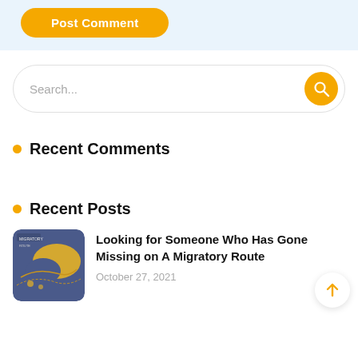[Figure (screenshot): Post Comment button with golden/yellow rounded rectangle style on light blue background]
[Figure (screenshot): Search bar with placeholder text 'Search...' and orange search icon button on the right]
Recent Comments
Recent Posts
[Figure (illustration): Thumbnail image for the 'Looking for Someone Who Has Gone Missing on A Migratory Route' post — map-style illustration with blue/yellow/orange tones]
Looking for Someone Who Has Gone Missing on A Migratory Route
October 27, 2021